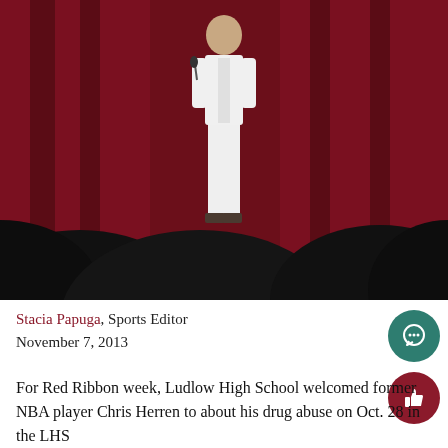[Figure (photo): A person dressed in white stands on a stage in front of a dark red curtain, with silhouettes of audience members' heads visible in the foreground.]
Stacia Papuga, Sports Editor
November 7, 2013
For Red Ribbon week, Ludlow High School welcomed former NBA player Chris Herren to about his drug abuse on Oct. 28 in the LHS